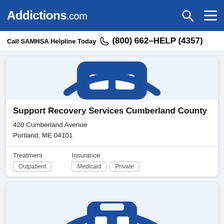Addictions.com
Call SAMHSA Helpline Today  (800) 662-HELP (4357)
[Figure (logo): Addictions.com facility logo icon in blue, partially visible at top of first card]
Support Recovery Services Cumberland County
420 Cumberland Avenue
Portland, ME 04101
Treatment
Outpatient
Insurance
Medicaid  Private
[Figure (logo): Addictions.com facility logo icon in blue, partially visible at bottom of page in second card]